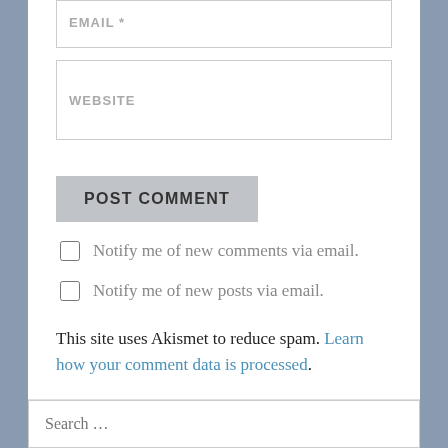EMAIL *
WEBSITE
POST COMMENT
Notify me of new comments via email.
Notify me of new posts via email.
This site uses Akismet to reduce spam. Learn how your comment data is processed.
Search …